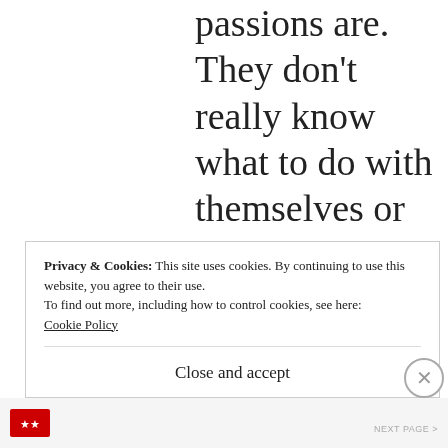passions are. They don't really know what to do with themselves or their lives. To be honest, I used to feel jealous of them and hurt that they'd flirt with the men I was dating and in serious relationships with. But now I realize they helped me weed out men
Privacy & Cookies: This site uses cookies. By continuing to use this website, you agree to their use.
To find out more, including how to control cookies, see here:
Cookie Policy
Close and accept